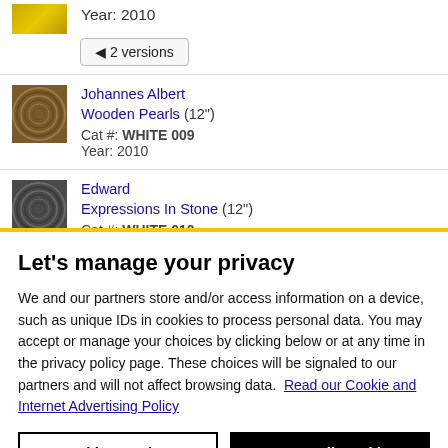Year: 2010
◄ 2 versions
[Figure (photo): Album cover with spiral wood grain pattern, brown tones]
Johannes Albert Wooden Pearls (12") Cat #: WHITE 009 Year: 2010
[Figure (photo): Album cover with spiral stone/dark texture pattern]
Edward Expressions In Stone (12") Cat #: WHITE 010
Let's manage your privacy
We and our partners store and/or access information on a device, such as unique IDs in cookies to process personal data. You may accept or manage your choices by clicking below or at any time in the privacy policy page. These choices will be signaled to our partners and will not affect browsing data. Read our Cookie and Internet Advertising Policy
Cookies Settings
Accept All Cookies